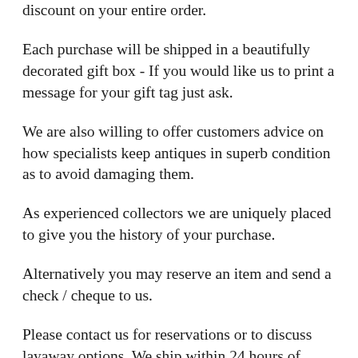discount on your entire order.
Each purchase will be shipped in a beautifully decorated gift box - If you would like us to print a message for your gift tag just ask.
We are also willing to offer customers advice on how specialists keep antiques in superb condition as to avoid damaging them.
As experienced collectors we are uniquely placed to give you the history of your purchase.
Alternatively you may reserve an item and send a check / cheque to us.
Please contact us for reservations or to discuss layaway options. We ship within 24 hours of cleared payment. We